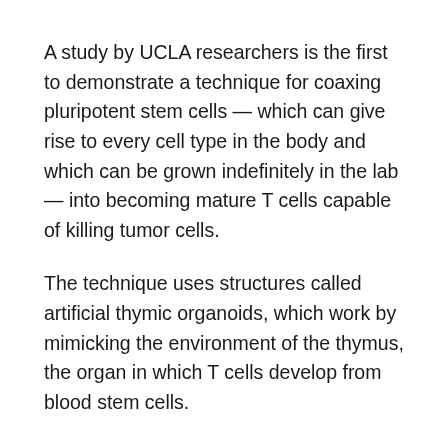A study by UCLA researchers is the first to demonstrate a technique for coaxing pluripotent stem cells — which can give rise to every cell type in the body and which can be grown indefinitely in the lab — into becoming mature T cells capable of killing tumor cells.
The technique uses structures called artificial thymic organoids, which work by mimicking the environment of the thymus, the organ in which T cells develop from blood stem cells.
T cells are cells of the immune system that fight infections, but also have the potential to eliminate cancer cells. The ability to create them from self-renewing pluripotent stem cells using the UCLA technique could lead to new approaches to cancer immunotherapy and could spur further research on T cell therapies for viral infections such as HIV, and autoimmune diseases. Among the technique's most